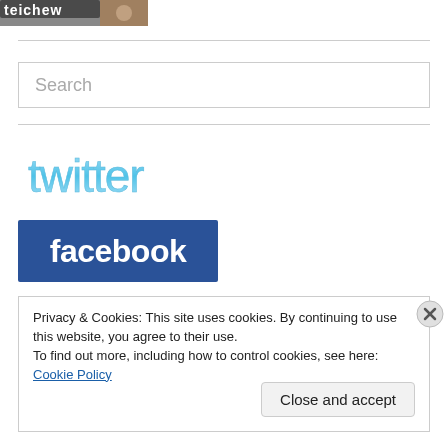[Figure (logo): Partially visible logo/header image at top left, appears to show stylized text and a partial face image]
[Figure (logo): Twitter logo in light blue gradient bubble font style]
[Figure (logo): Facebook logo: white bold text on dark blue rectangle background]
Privacy & Cookies: This site uses cookies. By continuing to use this website, you agree to their use.
To find out more, including how to control cookies, see here: Cookie Policy
Close and accept